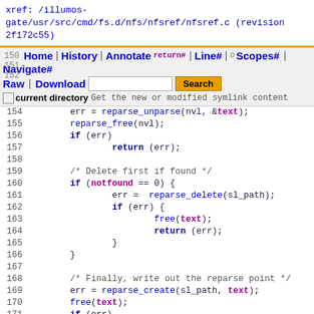xref: /illumos-gate/usr/src/cmd/fs.d/nfs/nfsref/nfsref.c (revision 2f172c55)
[Figure (screenshot): Navigation bar with links: Home | History | Annotate | Line# | Scopes# | Navigate#, Raw | Download, search input and Search button, checkbox for current directory]
Code listing lines 151-175 of nfsref.c showing C source code with reparse_unparse, reparse_free, reparse_delete, reparse_create, lstat calls and control flow